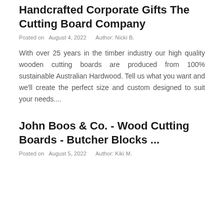Handcrafted Corporate Gifts The Cutting Board Company
Posted on  August 4, 2022    Author: Nicki B.
With over 25 years in the timber industry our high quality wooden cutting boards are produced from 100% sustainable Australian Hardwood. Tell us what you want and we'll create the perfect size and custom designed to suit your needs....
John Boos & Co. - Wood Cutting Boards - Butcher Blocks ...
Posted on  August 5, 2022    Author: Kiki M.